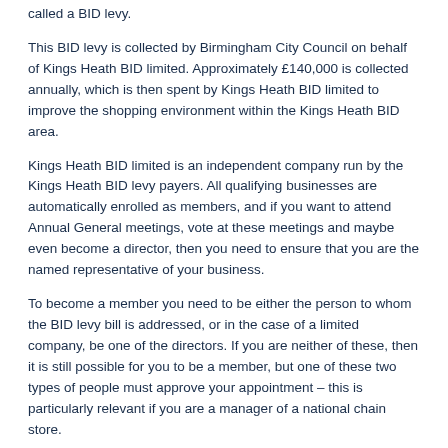called a BID levy.
This BID levy is collected by Birmingham City Council on behalf of Kings Heath BID limited. Approximately £140,000 is collected annually, which is then spent by Kings Heath BID limited to improve the shopping environment within the Kings Heath BID area.
Kings Heath BID limited is an independent company run by the Kings Heath BID levy payers. All qualifying businesses are automatically enrolled as members, and if you want to attend Annual General meetings, vote at these meetings and maybe even become a director, then you need to ensure that you are the named representative of your business.
To become a member you need to be either the person to whom the BID levy bill is addressed, or in the case of a limited company, be one of the directors. If you are neither of these, then it is still possible for you to be a member, but one of these two types of people must approve your appointment – this is particularly relevant if you are a manager of a national chain store.
To become a member, simply download the form here